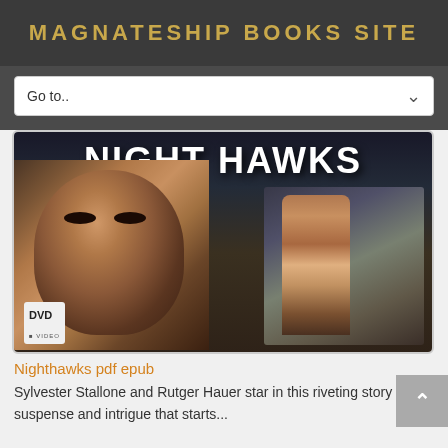MAGNATESHIP BOOKS SITE
Go to..
[Figure (photo): DVD cover for Nighthawks movie showing the title NIGHT HAWKS at top, a close-up of a man's face on the left, and two men pointing guns on the right, with a DVD Video badge in the bottom left corner]
Nighthawks pdf epub
Sylvester Stallone and Rutger Hauer star in this riveting story of suspense and intrigue that starts...